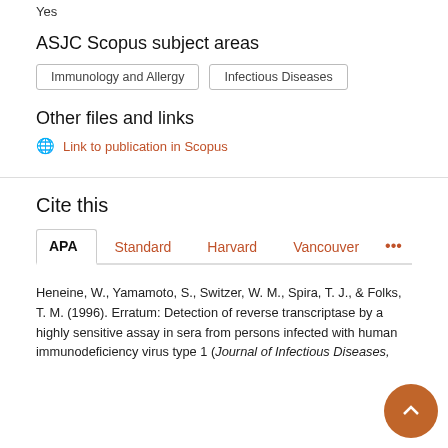Yes
ASJC Scopus subject areas
Immunology and Allergy
Infectious Diseases
Other files and links
Link to publication in Scopus
Cite this
APA  Standard  Harvard  Vancouver  ...
Heneine, W., Yamamoto, S., Switzer, W. M., Spira, T. J., & Folks, T. M. (1996). Erratum: Detection of reverse transcriptase by a highly sensitive assay in sera from persons infected with human immunodeficiency virus type 1 (Journal of Infectious Diseases,